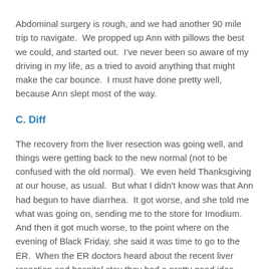Abdominal surgery is rough, and we had another 90 mile trip to navigate.  We propped up Ann with pillows the best we could, and started out.  I've never been so aware of my driving in my life, as a tried to avoid anything that might make the car bounce.  I must have done pretty well, because Ann slept most of the way.
C. Diff
The recovery from the liver resection was going well, and things were getting back to the new normal (not to be confused with the old normal).  We even held Thanksgiving at our house, as usual.  But what I didn't know was that Ann had begun to have diarrhea.  It got worse, and she told me what was going on, sending me to the store for Imodium.  And then it got much worse, to the point where on the evening of Black Friday, she said it was time to go to the ER.  When the ER doctors heard about the recent liver resection and hospital stay they had a pretty good idea about what it was – a serious bacterial infection, C. Diff. Tests showed they were right, and they admitted Ann to the hospital, and